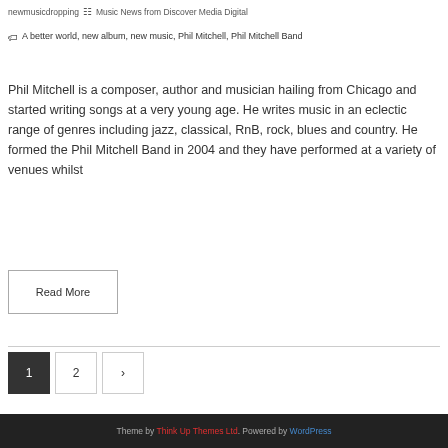newmusicdropping  ☰  Music News from Discover Media Digital
🏷 A better world, new album, new music, Phil Mitchell, Phil Mitchell Band
Phil Mitchell is a composer, author and musician hailing from Chicago and started writing songs at a very young age. He writes music in an eclectic range of genres including jazz, classical, RnB, rock, blues and country. He formed the Phil Mitchell Band in 2004 and they have performed at a variety of venues whilst
Read More
1  2  ›
Theme by Think Up Themes Ltd. Powered by WordPress